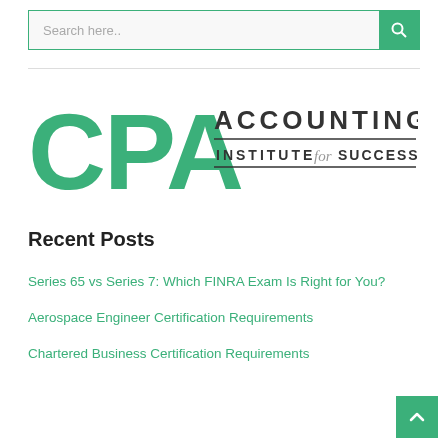Search here..
[Figure (logo): CPA Accounting Institute for Success logo — large green CPA letters on left, ACCOUNTING in bold dark caps on top right, INSTITUTE for SUCCESS below with decorative lines]
Recent Posts
Series 65 vs Series 7: Which FINRA Exam Is Right for You?
Aerospace Engineer Certification Requirements
Chartered Business Certification Requirements